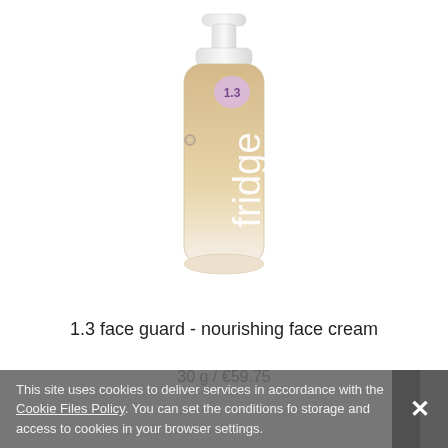[Figure (photo): A cosmetic pump bottle of 'fridge 1.3 face guard nourishing face cream'. The bottle has a white pump top, a gradient body from beige/tan at the top fading to white/frosted at the bottom, with the word 'fridge' written vertically in white text and a small lavender circle with '1.3' near the top.]
1.3 face guard - nourishing face cream
30 g /  €59.75
This site uses cookies to deliver services in accordance with the Cookie Files Policy. You can set the conditions for storage and access to cookies in your browser settings.